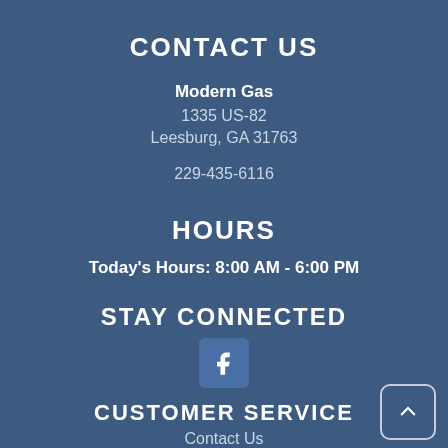CONTACT US
Modern Gas
1335 US-82
Leesburg, GA 31763

229-435-6116
HOURS
Today's Hours: 8:00 AM - 6:00 PM
STAY CONNECTED
[Figure (logo): Facebook icon - white 'f' on blue rounded square background]
CUSTOMER SERVICE
Contact Us